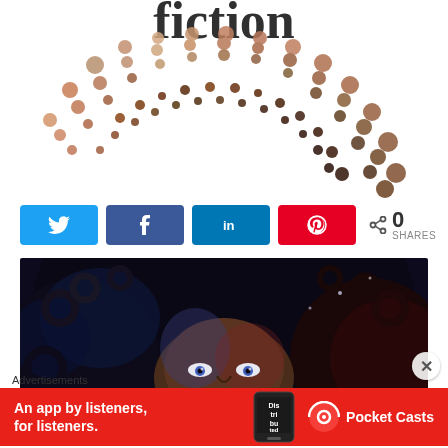[Figure (logo): Partial view of a circular dotted arc logo in brown/copper tones with stylized cursive text at top, appearing to be a brand or publication logo]
[Figure (infographic): Social share buttons row: Twitter (blue), Facebook (dark blue), LinkedIn (blue), Pinterest (red), and a share icon with '0 SHARES' count]
[Figure (photo): Close-up portrait painting of a young Black woman with large curly afro hair, vivid blue and red lighting, looking directly at viewer]
Advertisements
[Figure (screenshot): Red advertisement banner for Pocket Casts app: 'An app by listeners, for listeners.' with phone mockup and Pocket Casts logo]